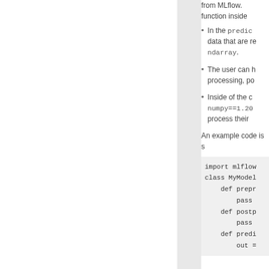In the predict function, data that are returned as ndarray.
The user can handle processing, po...
Inside of the co... numpy==1.20... process their ...
An example code is s...
[Figure (screenshot): Code block showing Python mlflow model class with import mlflow, class MyModel, def prepr... pass, def postp... pass, def predi... out =]